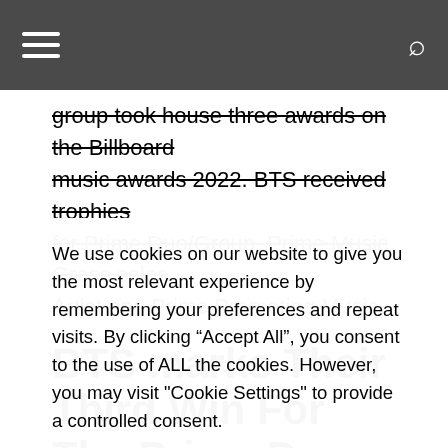☰  🔍
group took house three awards on the Billboard music awards 2022. BTS received trophies for Prime Duo/Group, Prime Music Gross sales Artist and Prime Promoting Music.
BTS marks Their Third Win For The Prime Dup Group Class
It's a huge second for BTS as they achieved the feat
We use cookies on our website to give you the most relevant experience by remembering your preferences and repeat visits. By clicking "Accept All", you consent to the use of ALL the cookies. However, you may visit "Cookie Settings" to provide a controlled consent.
Cookie Settings | Accept All